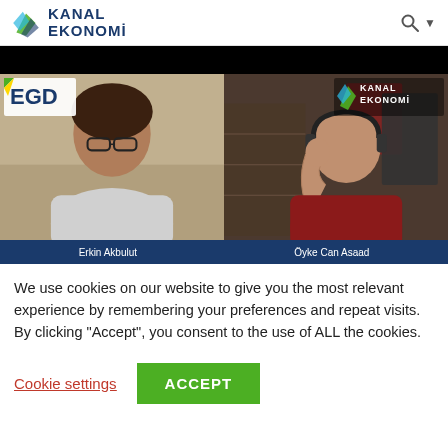[Figure (logo): Kanal Ekonomi logo with green leaf icon and dark blue text reading KANAL EKONOMI, plus search icon with dropdown arrow on right]
[Figure (screenshot): Video thumbnail showing two people in a video call. Left person: Erkin Akbulut (wearing glasses, light grey sweatshirt). Right person: Öyke Can Asaad (bald, red sweater, headphones, raising hand). EGD badge top-left, Kanal Ekonomi logo top-right. Blue lower bar with names.]
We use cookies on our website to give you the most relevant experience by remembering your preferences and repeat visits. By clicking "Accept", you consent to the use of ALL the cookies.
Cookie settings   ACCEPT